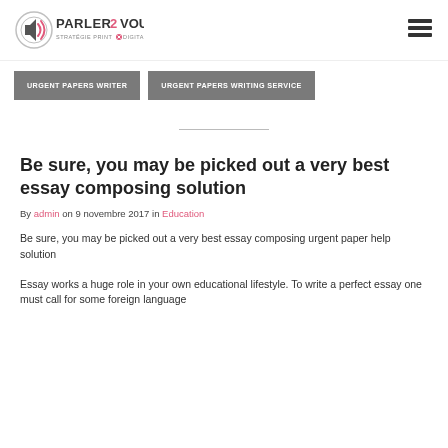[Figure (logo): PARLER2VOUS logo with speaker icon and tagline STRATÉGIE PRINT & DIGITALE]
[Figure (other): Hamburger menu icon (three horizontal lines)]
URGENT PAPERS WRITER
URGENT PAPERS WRITING SERVICE
Be sure, you may be picked out a very best essay composing solution
By admin on 9 novembre 2017 in Education
Be sure, you may be picked out a very best essay composing urgent paper help solution
Essay works a huge role in your own educational lifestyle. To write a perfect essay one must call for some foreign language